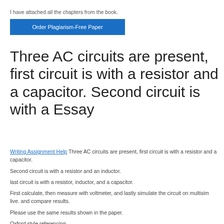I have attached all the chapters from the book.
[Figure (other): Blue button labeled 'Order Plagiarism-Free Paper']
Three AC circuits are present, first circuit is with a resistor and a capacitor. Second circuit is with a Essay
Writing Assignment Help Three AC circuits are present, first circuit is with a resistor and a capacitor. Second circuit is with a resistor and an inductor. last circuit is with a resistor, inductor, and a capacitor. First calculate, then measure with voltmeter, and lastly simulate the circuit on multisim live. and compare results. Please use the same results shown in the paper. Oxford style referencing.